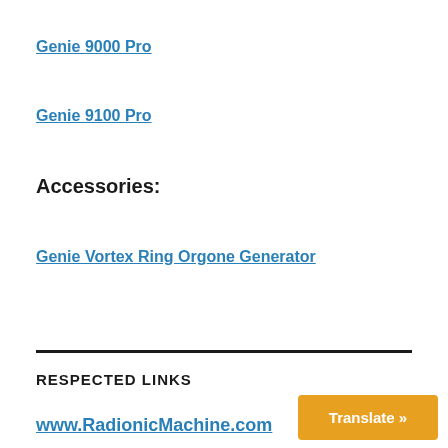Genie 9000 Pro
Genie 9100 Pro
Accessories:
Genie Vortex Ring Orgone Generator
RESPECTED LINKS
www.RadionicMachine.com
Translate »